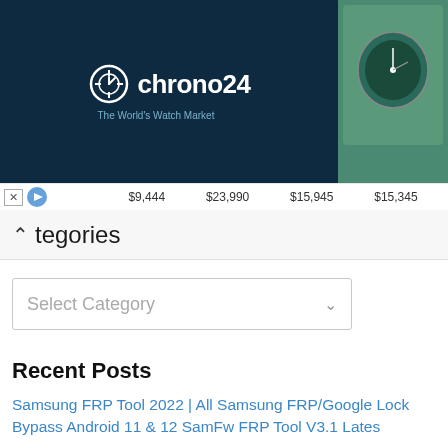[Figure (screenshot): Chrono24 advertisement banner showing logo on dark blue background on the left and four luxury watch listings with prices ($9,444, $23,990, $15,945, $15,345) on the right]
tegories
Select Category
Recent Posts
Samsung FRP Tool 2022 | All Samsung FRP/Google Lock Bypass Android 11 & 12 SamFw FRP Tool V3.1 Lates
Redmi 9 Frp Bypass | Redmi 9 ( M2004J19G) Google Account Remove MIUI 12 Without PC